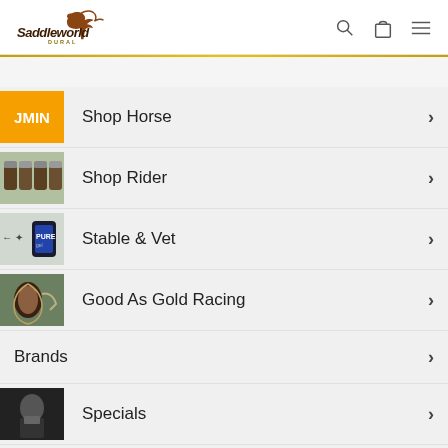[Figure (logo): Saddleworld Dural logo with horse silhouette and italic text]
Shop Horse
Shop Rider
Stable & Vet
Good As Gold Racing
Brands
Specials
Contact